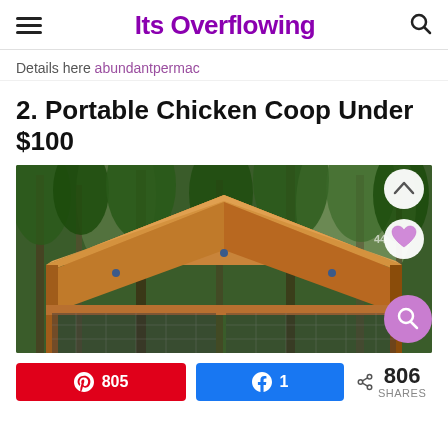Its Overflowing
Details here abundantpermac
2. Portable Chicken Coop Under $100
[Figure (photo): Portable A-frame wooden chicken coop with wire mesh sides, set outdoors in front of a forest background. Overlay buttons visible: up/chevron, heart, and search icons.]
805  1  < 806 SHARES